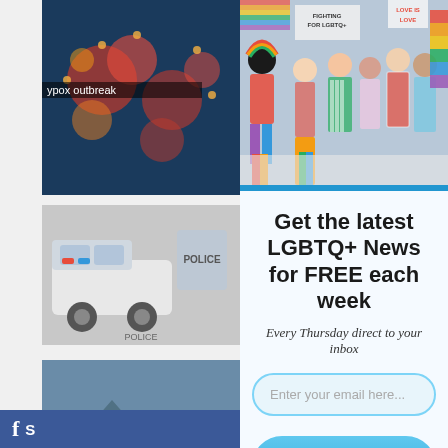[Figure (photo): Thumbnail of mpox/monkeypox virus particles on dark background with label 'ypox outbreak']
[Figure (photo): Thumbnail of LAPD police car and officer]
[Figure (photo): Thumbnail of hiker with red backpack in mountains, overlapping September calendar/text]
[Figure (photo): Large hero image of diverse group of people holding LGBTQ+ pride flags and signs reading 'FIGHTING FOR LGBTQ+' and 'LOVE IS LOVE']
Get the latest LGBTQ+ News for FREE each week
Every Thursday direct to your inbox
Enter your email here...
Yes! I want FREE LGBTQ News